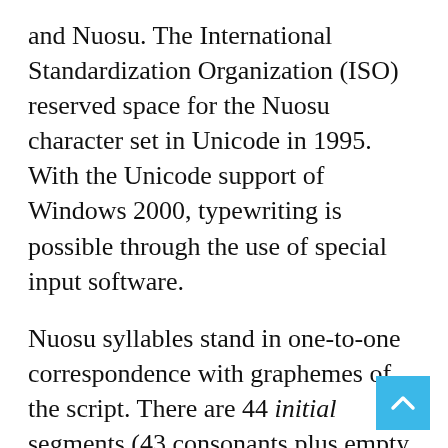and Nuosu. The International Standardization Organization (ISO) reserved space for the Nuosu character set in Unicode in 1995. With the Unicode support of Windows 2000, typewriting is possible through the use of special input software.
Nuosu syllables stand in one-to-one correspondence with graphemes of the script. There are 44 initial segments (43 consonants plus empty initial segment), ten final segments (eight plain vowels and two creaky vowels) and four suprasegments (three tonemes and one tone sandhi) of Nuosu. The theoretical number of logical syllables the script should provide graphemes for is 1,760. In wake of the fact that certain combinations of initials and finals are not attested in any dialect of Nuosu, the designers of